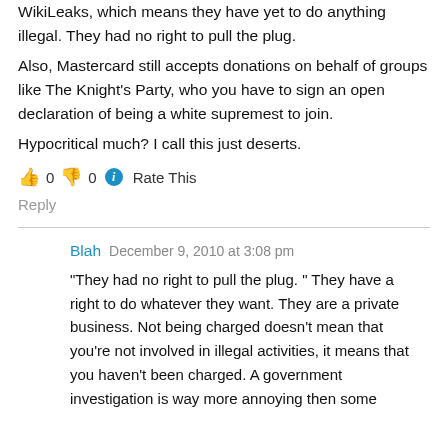WikiLeaks, which means they have yet to do anything illegal. They had no right to pull the plug.
Also, Mastercard still accepts donations on behalf of groups like The Knight's Party, who you have to sign an open declaration of being a white supremest to join.
Hypocritical much? I call this just deserts.
👍 0 👎 0 ℹ Rate This
Reply
Blah  December 9, 2010 at 3:08 pm
"They had no right to pull the plug. " They have a right to do whatever they want. They are a private business. Not being charged doesn't mean that you're not involved in illegal activities, it means that you haven't been charged. A government investigation is way more annoying then some